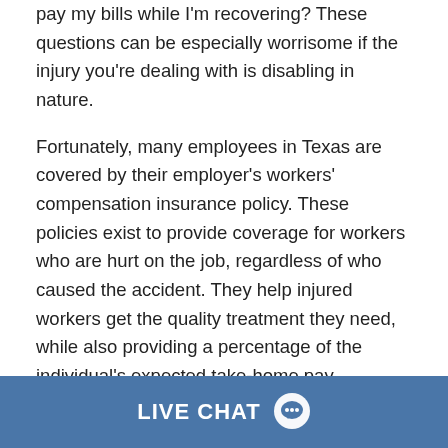pay my bills while I'm recovering? These questions can be especially worrisome if the injury you're dealing with is disabling in nature.
Fortunately, many employees in Texas are covered by their employer's workers' compensation insurance policy. These policies exist to provide coverage for workers who are hurt on the job, regardless of who caused the accident. They help injured workers get the quality treatment they need, while also providing a percentage of the individual's expected take-home pay.
LIVE CHAT